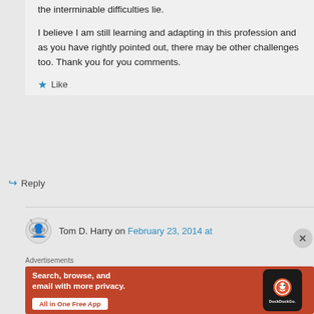the interminable difficulties lie.
I believe I am still learning and adapting in this profession and as you have rightly pointed out, there may be other challenges too. Thank you for you comments.
★ Like
↳ Reply
Tom D. Harry on February 23, 2014 at
Advertisements
[Figure (infographic): DuckDuckGo advertisement: orange background with white bold text 'Search, browse, and email with more privacy.' and a white button 'All in One Free App'. Right side shows a phone with DuckDuckGo logo and wordmark.]